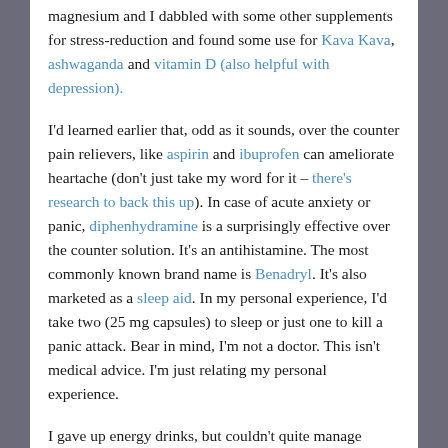magnesium and I dabbled with some other supplements for stress-reduction and found some use for Kava Kava, ashwaganda and vitamin D (also helpful with depression).
I'd learned earlier that, odd as it sounds, over the counter pain relievers, like aspirin and ibuprofen can ameliorate heartache (don't just take my word for it – there's research to back this up). In case of acute anxiety or panic, diphenhydramine is a surprisingly effective over the counter solution. It's an antihistamine. The most commonly known brand name is Benadryl. It's also marketed as a sleep aid. In my personal experience, I'd take two (25 mg capsules) to sleep or just one to kill a panic attack. Bear in mind, I'm not a doctor. This isn't medical advice. I'm just relating my personal experience.
I gave up energy drinks, but couldn't quite manage without a cup or two of coffee in the morning, so I